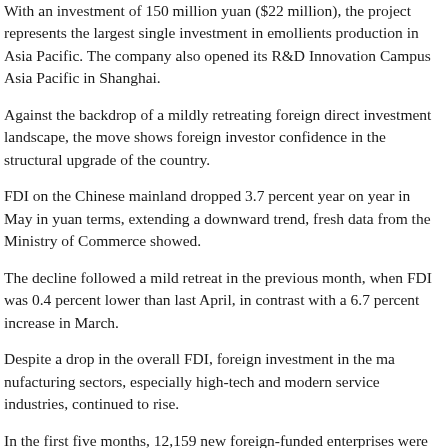With an investment of 150 million yuan ($22 million), the project represents the largest single investment in emollients production in Asia Pacific. The company also opened its R&D Innovation Campus Asia Pacific in Shanghai.
Against the backdrop of a mildly retreating foreign direct investment landscape, the move shows foreign investor confidence in the structural upgrade of the country.
FDI on the Chinese mainland dropped 3.7 percent year on year in May in yuan terms, extending a downward trend, fresh data from the Ministry of Commerce showed.
The decline followed a mild retreat in the previous month, when FDI was 0.4 percent lower than last April, in contrast with a 6.7 percent increase in March.
Despite a drop in the overall FDI, foreign investment in the manufacturing sectors, especially high-tech and modern service industries, continued to rise.
In the first five months, 12,159 new foreign-funded enterprises were set up on the mainland, up 11.9 percent. The high-tech service sector attracted 24.3 billion yuan of foreign capital, up 20.5 percent year on year, according to the MOC.